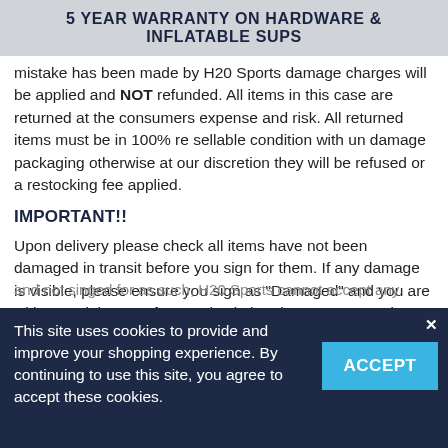5 YEAR WARRANTY ON HARDWARE & INFLATABLE SUPS
mistake has been made by H20 Sports damage charges will be applied and NOT refunded. All items in this case are returned at the consumers expense and risk. All returned items must be in 100% re sellable condition with un damage packaging otherwise at our discretion they will be refused or a restocking fee applied.
IMPORTANT!!
Upon delivery please check all items have not been damaged in transit before you sign for them. If any damage is visible, please ensure you sign as "Damaged" and you are with your rights to refuse and ask that they are returned to the sender. If you cannot thoroughly check the goods please sign for as 'unchecked'. It is your duty to inspect and confirm that the goods are in good condition before signing. If the goods are damaged
and not singed for as such, H20 Sports cannot accept any
H20 Sports Ltd is a Privately owned retail store and a limited
This site uses cookies to provide and improve your shopping experience. By continuing to use this site, you agree to accept these cookies.